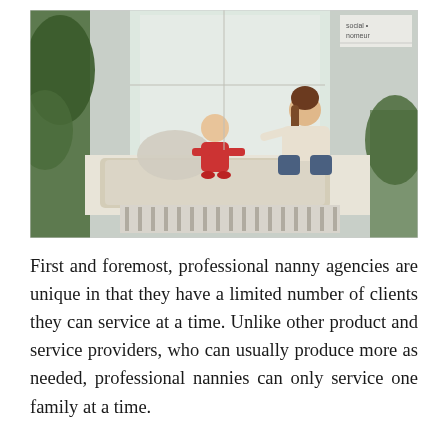[Figure (photo): A woman and a toddler sitting on a window seat bench with a fluffy rug, interacting warmly. A radiator is visible below the window. Green plants are on either side. A small note in the upper right corner reads 'social nomeur'.]
First and foremost, professional nanny agencies are unique in that they have a limited number of clients they can service at a time. Unlike other product and service providers, who can usually produce more as needed, professional nannies can only service one family at a time.